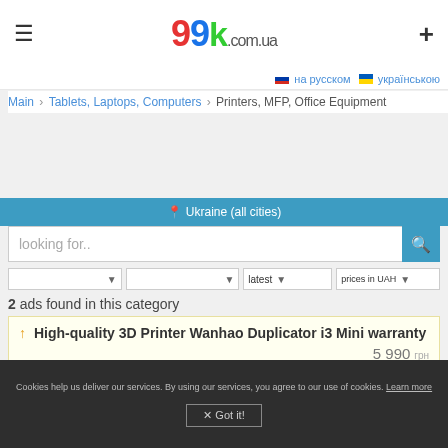99k.com.ua
на русском  українською
Main › Tablets, Laptops, Computers › Printers, MFP, Office Equipment
Ukraine (all cities)
looking for..
2 ads found in this category
↑ High-quality 3D Printer Wanhao Duplicator i3 Mini warranty   5 990 грн
New 3D printer Wanhao Duplicator I3 Mini is a compact and budget 3D printer from Wanhao well-known manufacturer, the main special
Category: Printers in Melitopol'   over a year ago   Tags: Printers
What is VIP-ads?
Cookies help us deliver our services. By using our services, you agree to our use of cookies. Learn more
✕ Got it!